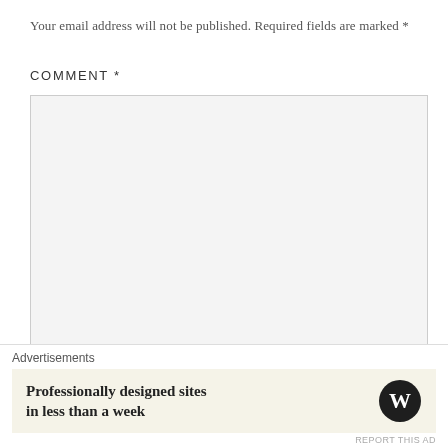Your email address will not be published. Required fields are marked *
COMMENT *
[Figure (other): Empty comment text area input box with light gray background and resize handle]
NAME *
Advertisements
Professionally designed sites in less than a week